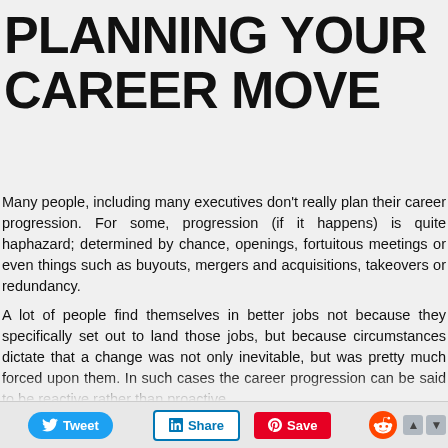PLANNING YOUR CAREER MOVE
Many people, including many executives don't really plan their career progression. For some, progression (if it happens) is quite haphazard; determined by chance, openings, fortuitous meetings or even things such as buyouts, mergers and acquisitions, takeovers or redundancy.
A lot of people find themselves in better jobs not because they specifically set out to land those jobs, but because circumstances dictate that a change was not only inevitable, but was pretty much forced upon them. In such cases the career progression can be said to be reactive rather than proactive.
This is all well and good if (A) the change is actually a change in the right direction, and (B) results in a job that you actually like. But
Tweet  Share  Save  Reddit  ▲ ▼